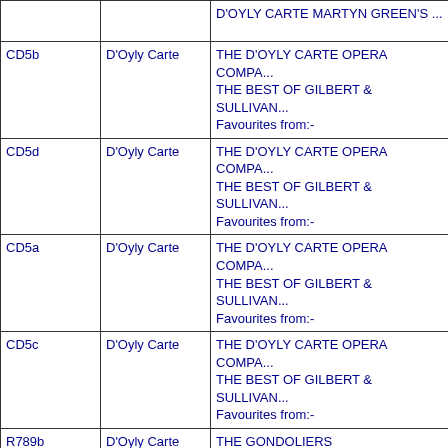| ID | Performer | Title |
| --- | --- | --- |
|  |  | D'OYLY CARTE  MARTYN GREEN'S ... |
| CD5b | D'Oyly Carte | THE D'OYLY CARTE OPERA COMPA...
THE BEST OF GILBERT & SULLIVAN...
Favourites from:- |
| CD5d | D'Oyly Carte | THE D'OYLY CARTE OPERA COMPA...
THE BEST OF GILBERT & SULLIVAN...
Favourites from:- |
| CD5a | D'Oyly Carte | THE D'OYLY CARTE OPERA COMPA...
THE BEST OF GILBERT & SULLIVAN...
Favourites from:- |
| CD5c | D'Oyly Carte | THE D'OYLY CARTE OPERA COMPA...
THE BEST OF GILBERT & SULLIVAN...
Favourites from:- |
| R789b | D'Oyly Carte | THE GONDOLIERS |
| R789c | D'Oyly Carte | THE GONDOLIERS |